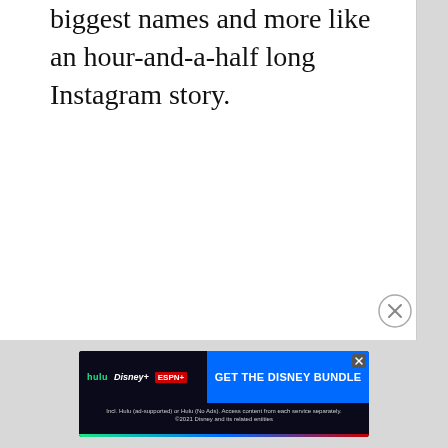biggest names and more like an hour-and-a-half long Instagram story.
[Figure (other): Disney Bundle advertisement banner featuring Hulu, Disney+, and ESPN+ logos with a blue 'GET THE DISNEY BUNDLE' call-to-action button and disclaimer text]